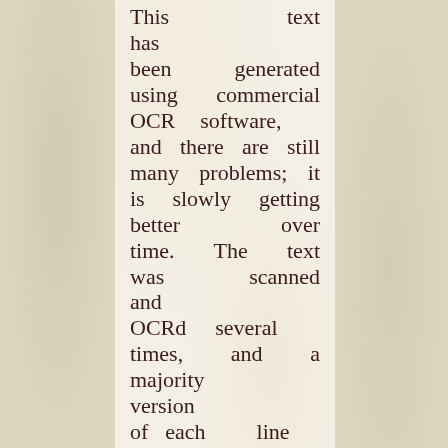This text has been generated using commercial OCR software, and there are still many problems; it is slowly getting better over time. The text was scanned and OCRd several times, and a majority version of each line of